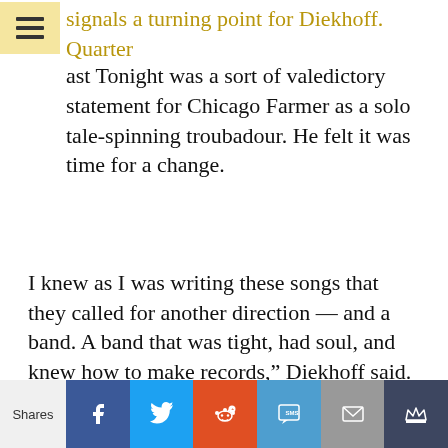signals a turning point for Diekhoff. Last Tonight was a sort of valedictory statement for Chicago Farmer as a solo tale-spinning troubadour. He felt it was time for a change.
I knew as I was writing these songs that they called for another direction — and a band. A band that was tight, had soul, and knew how to make records," Diekhoff said. "I'll always be a folksinger, but you can't just keep doing the same thing over and over. I decided it's time to throw some fuel on this fire and get it going. For me, it's all about the poetry and playing with a band is about putting the poetry in motion a little differently."
Shares | Facebook | Twitter | Reddit | SMS | Email | Crown